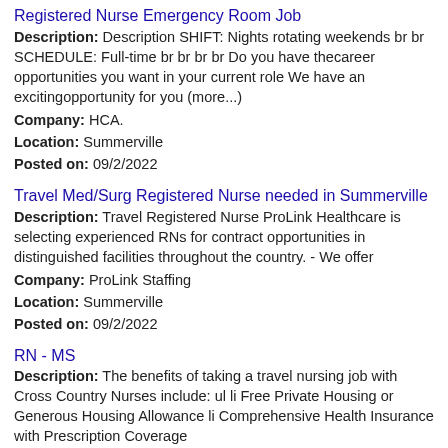Registered Nurse Emergency Room Job
Description: Description SHIFT: Nights rotating weekends br br SCHEDULE: Full-time br br br br Do you have thecareer opportunities you want in your current role We have an excitingopportunity for you (more...)
Company: HCA.
Location: Summerville
Posted on: 09/2/2022
Travel Med/Surg Registered Nurse needed in Summerville
Description: Travel Registered Nurse ProLink Healthcare is selecting experienced RNs for contract opportunities in distinguished facilities throughout the country. - We offer
Company: ProLink Staffing
Location: Summerville
Posted on: 09/2/2022
RN - MS
Description: The benefits of taking a travel nursing job with Cross Country Nurses include: ul li Free Private Housing or Generous Housing Allowance li Comprehensive Health Insurance with Prescription Coverage
Company: Cross Country Nurses
Location: Summerville